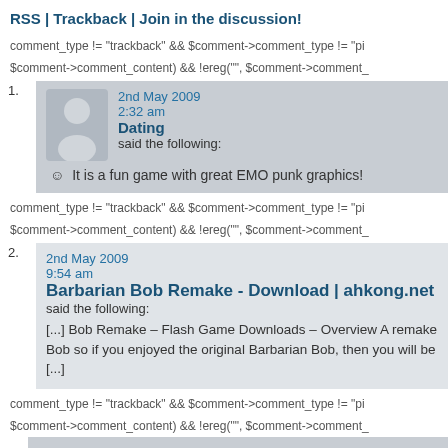RSS | Trackback | Join in the discussion!
comment_type != "trackback" && $comment->comment_type != "pi $comment->comment_content) && !ereg("", $comment->comment_
1. 2nd May 2009 2:32 am Dating said the following: It is a fun game with great EMO punk graphics!
comment_type != "trackback" && $comment->comment_type != "pi $comment->comment_content) && !ereg("", $comment->comment_
2. 2nd May 2009 9:54 am Barbarian Bob Remake - Download | ahkong.net said the following: [...] Bob Remake – Flash Game Downloads – Overview A remake Bob so if you enjoyed the original Barbarian Bob, then you will be [...]
comment_type != "trackback" && $comment->comment_type != "pi $comment->comment_content) && !ereg("", $comment->comment_
4th May 2009 7:22 pm